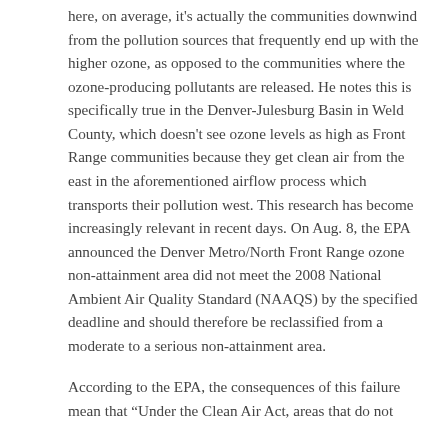here, on average, it's actually the communities downwind from the pollution sources that frequently end up with the higher ozone, as opposed to the communities where the ozone-producing pollutants are released. He notes this is specifically true in the Denver-Julesburg Basin in Weld County, which doesn't see ozone levels as high as Front Range communities because they get clean air from the east in the aforementioned airflow process which transports their pollution west. This research has become increasingly relevant in recent days. On Aug. 8, the EPA announced the Denver Metro/North Front Range ozone non-attainment area did not meet the 2008 National Ambient Air Quality Standard (NAAQS) by the specified deadline and should therefore be reclassified from a moderate to a serious non-attainment area.
According to the EPA, the consequences of this failure mean that "Under the Clean Air Act, areas that do not